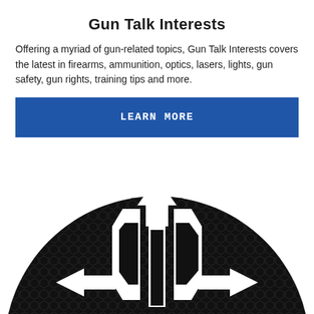Gun Talk Interests
Offering a myriad of gun-related topics, Gun Talk Interests covers the latest in firearms, ammunition, optics, lasers, lights, gun safety, gun rights, training tips and more.
LEARN MORE
[Figure (logo): Gun Talk circular logo — dark metallic hexagonal-grid background circle with a white stylized 'GT' emblem featuring upward and sideways arrows]